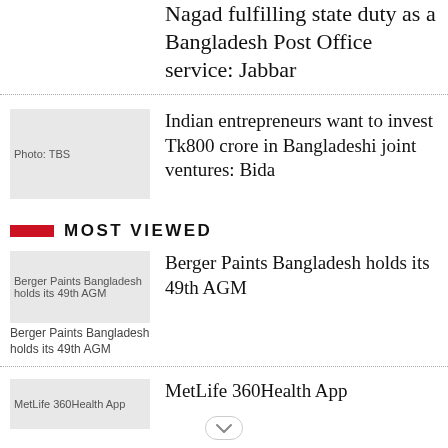Nagad fulfilling state duty as a Bangladesh Post Office service: Jabbar
[Figure (photo): Photo: TBS thumbnail for Indian entrepreneurs article]
Indian entrepreneurs want to invest Tk800 crore in Bangladeshi joint ventures: Bida
MOST VIEWED
[Figure (photo): Berger Paints Bangladesh holds its 49th AGM thumbnail]
Berger Paints Bangladesh holds its 49th AGM
Berger Paints Bangladesh holds its 49th AGM
[Figure (photo): MetLife 360Health App thumbnail]
MetLife 360Health App